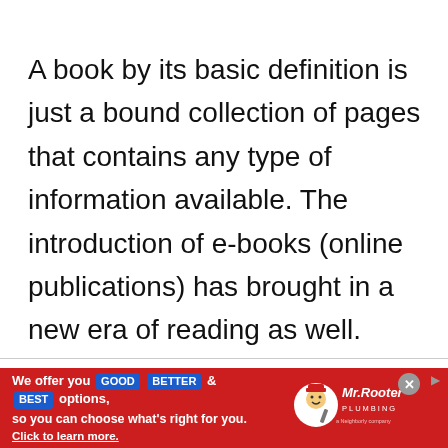A book by its basic definition is just a bound collection of pages that contains any type of information available. The introduction of e-books (online publications) has brought in a new era of reading as well.
[Figure (other): Pink circular play button with a right-pointing triangle inside]
[Figure (other): Mr. Rooter Plumbing advertisement banner with red background. Text: We offer you GOOD BETTER & BEST options, so you can choose what's right for you. Click to learn more. With Mr. Rooter Plumbing logo on the right.]